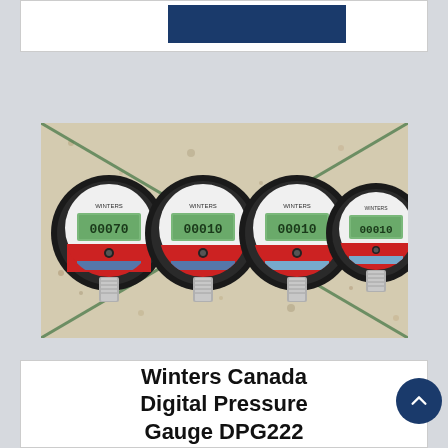[Figure (logo): Dark navy blue banner/logo bar at top of card]
[Figure (photo): Four Winters Canada digital pressure gauges (DPG222) with black circular housings and LCD displays, placed on a marble/terrazzo surface with two green diagonal lines crossing, silver threaded fittings at bottom]
Winters Canada Digital Pressure Gauge DPG222